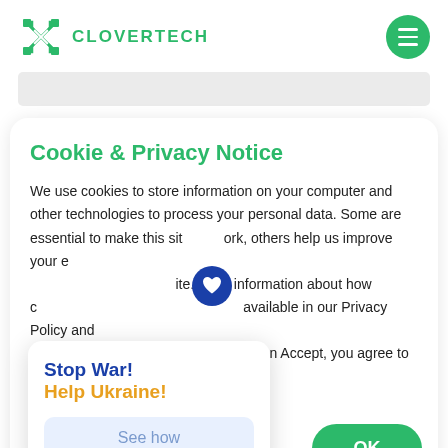CLOVERTECH
Cookie & Privacy Notice
We use cookies to store information on your computer and other technologies to process your personal data. Some are essential to make this site work, others help us improve your experience. More information about how our cookies are used is available in our Privacy Policy and Cookie Policy. By clicking Accept, you agree to our Privacy policy.
Stop War!
Help Ukraine!
See how
OK